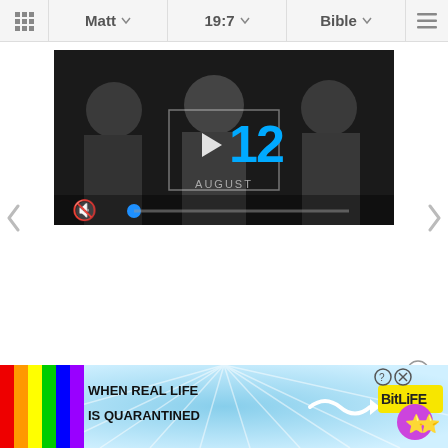Matt  19:7  Bible
[Figure (screenshot): Video thumbnail showing black and white image of people with a blue '12' and play button overlay, 'AUGUST' text below, mute icon and progress bar at bottom]
[Figure (screenshot): Left navigation arrow (chevron pointing left) in light gray]
[Figure (screenshot): Right navigation arrow (chevron pointing right) in light gray]
[Figure (screenshot): Close button (X in circle) for advertisement]
[Figure (screenshot): BitLife advertisement banner: 'WHEN REAL LIFE IS QUARANTINED' with rainbow stripe, emoji characters, and BitLife logo on blue/white background]